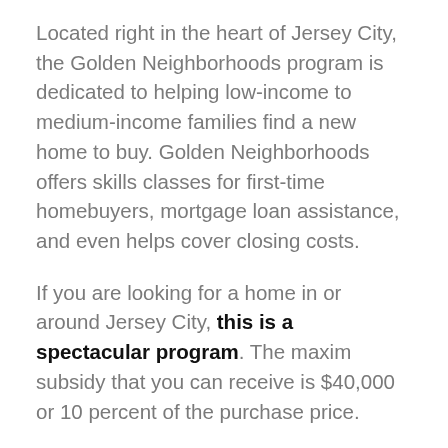Located right in the heart of Jersey City, the Golden Neighborhoods program is dedicated to helping low-income to medium-income families find a new home to buy. Golden Neighborhoods offers skills classes for first-time homebuyers, mortgage loan assistance, and even helps cover closing costs.
If you are looking for a home in or around Jersey City, this is a spectacular program. The maxim subsidy that you can receive is $40,000 or 10 percent of the purchase price.
NJHMFA Homeward-Bound Program
Another option that you can use as a first-time homebuyer is the Homeward Bound program. This is a statewide program that offers below-